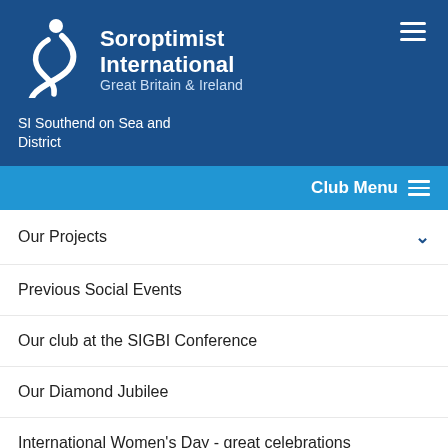[Figure (logo): Soroptimist International Great Britain & Ireland logo with white stylized figure on blue background]
SI Southend on Sea and District
Club Menu
Our Projects
Previous Social Events
Our club at the SIGBI Conference
Our Diamond Jubilee
International Women's Day - great celebrations
Relationships Education for all children